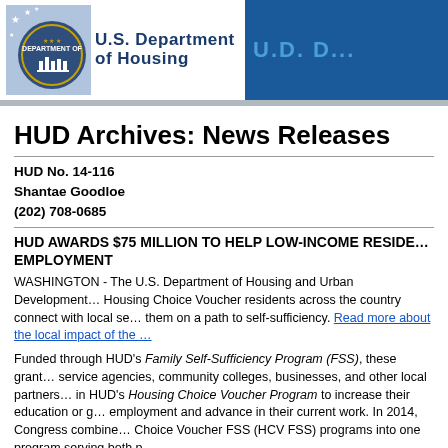U.S. Department of Housing and Urban Development
HUD Archives: News Releases
HUD No. 14-116
Shantae Goodloe
(202) 708-0685
HUD AWARDS $75 MILLION TO HELP LOW-INCOME RESIDENTS GAIN EMPLOYMENT
WASHINGTON - The U.S. Department of Housing and Urban Development today announced grants to help Housing Choice Voucher residents across the country connect with local services that can put them on a path to self-sufficiency. Read more about the local impact of the grants.
Funded through HUD's Family Self-Sufficiency Program (FSS), these grants help connect social service agencies, community colleges, businesses, and other local partners with families enrolled in HUD's Housing Choice Voucher Program to increase their education or gain or advance employment and advance in their current work. In 2014, Congress combined the Public Housing and Choice Voucher FSS (HCV FSS) programs into one program serving both populations.
As HUD approaches its 50th anniversary next year, HUD Secretary Julián Castro is expanding opportunities for all Americans, including helping families and individuals...